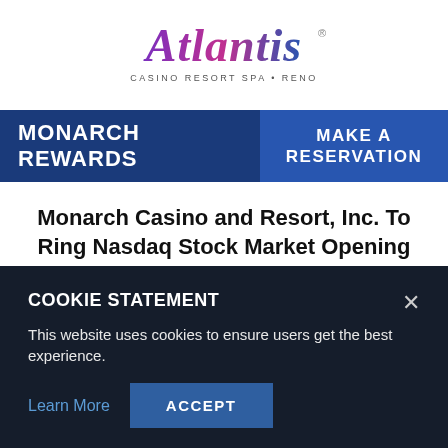[Figure (logo): Atlantis Casino Resort Spa Reno logo with stylized script text and tagline]
MONARCH REWARDS
MAKE A RESERVATION
Monarch Casino and Resort, Inc. To Ring Nasdaq Stock Market Opening Bell
Parent company of Atlantis celebrates quarterly earnings record
COOKIE STATEMENT
This website uses cookies to ensure users get the best experience.
Learn More
ACCEPT